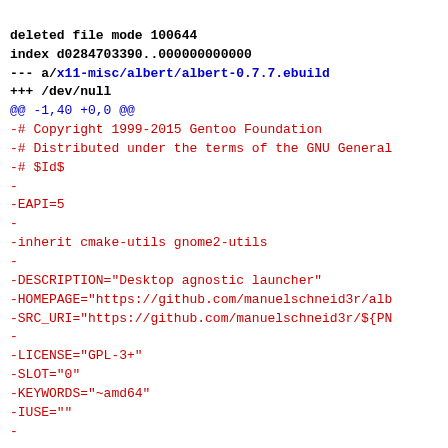deleted file mode 100644
index d0284703390..000000000000
--- a/x11-misc/albert/albert-0.7.7.ebuild
+++ /dev/null
@@ -1,40 +0,0 @@
-# Copyright 1999-2015 Gentoo Foundation
-# Distributed under the terms of the GNU General
-# $Id$
-
-EAPI=5
-
-inherit cmake-utils gnome2-utils
-
-DESCRIPTION="Desktop agnostic launcher"
-HOMEPAGE="https://github.com/manuelschneid3r/alb
-SRC_URI="https://github.com/manuelschneid3r/${PN
-
-LICENSE="GPL-3+"
-SLOT="0"
-KEYWORDS="~amd64"
-IUSE=""
-